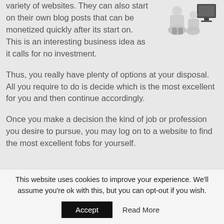variety of websites. They can also start on their own blog posts that can be monetized quickly after its start on. This is an interesting business idea as it calls for no investment.
[Figure (illustration): Two 3D cartoon figures standing near a computer monitor, partially visible at top right]
Thus, you really have plenty of options at your disposal. All you require to do is decide which is the most excellent for you and then continue accordingly.
Once you make a decision the kind of job or profession you desire to pursue, you may log on to a website to find the most excellent fobs for yourself.
This website uses cookies to improve your experience. We'll assume you're ok with this, but you can opt-out if you wish.